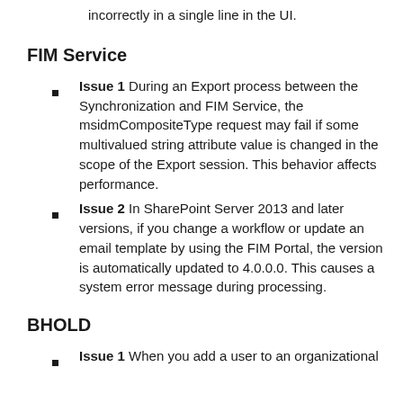incorrectly in a single line in the UI.
FIM Service
Issue 1 During an Export process between the Synchronization and FIM Service, the msidmCompositeType request may fail if some multivalued string attribute value is changed in the scope of the Export session. This behavior affects performance.
Issue 2 In SharePoint Server 2013 and later versions, if you change a workflow or update an email template by using the FIM Portal, the version is automatically updated to 4.0.0.0. This causes a system error message during processing.
BHOLD
Issue 1 When you add a user to an organizational